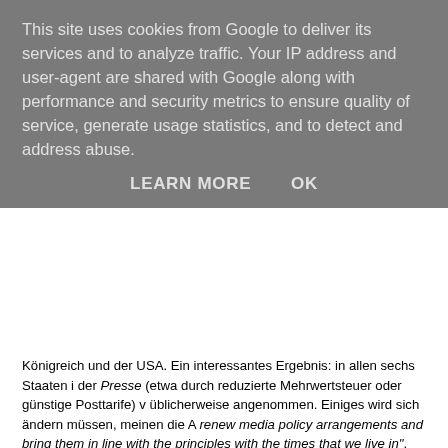This site uses cookies from Google to deliver its services and to analyze traffic. Your IP address and user-agent are shared with Google along with performance and security metrics to ensure quality of service, generate usage statistics, and to detect and address abuse.
LEARN MORE    OK
Königreich und der USA. Ein interessantes Ergebnis: in allen sechs Staaten i der Presse (etwa durch reduzierte Mehrwertsteuer oder günstige Posttarife) v üblicherweise angenommen. Einiges wird sich ändern müssen, meinen die A renew media policy arrangements and bring them in line with the principles with the times that we live in".
Datenschutz/Privacy, Vorratsdaten, ...
Opinion of the European Data Protection Supervisor on net neutrality, traffic of privacy and personal data
Paul A. Bernal, A Right to Delete?
Global Right to Infomation Rating: ich bin bei solchen Ratings grundsätzlich Österreich unter den 89 Staaten, in denen die rechtlichen Rahmenbedingunge gewertet wurden, an allerletzter Stelle steht, dann ist das zumindest ein Indiz zur Verbesserung gäbe (Tabelle zu Österreich [xls]).